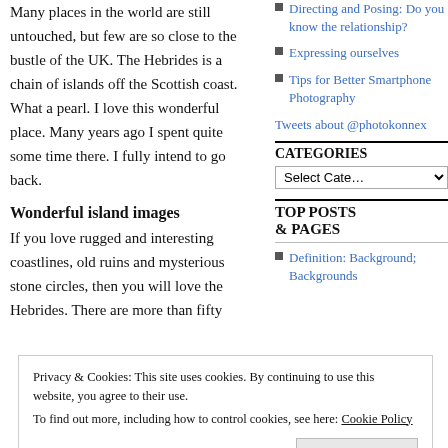Many places in the world are still untouched, but few are so close to the bustle of the UK. The Hebrides is a chain of islands off the Scottish coast. What a pearl. I love this wonderful place. Many years ago I spent quite some time there. I fully intend to go back.
Directing and Posing: Do you know the relationship?
Expressing ourselves
Tips for Better Smartphone Photography
Tweets about @photokonnex
CATEGORIES
Select Category
Wonderful island images
If you love rugged and interesting coastlines, old ruins and mysterious stone circles, then you will love the Hebrides. There are more than fifty
TOP POSTS & PAGES
Definition: Background; Backgrounds
Privacy & Cookies: This site uses cookies. By continuing to use this website, you agree to their use. To find out more, including how to control cookies, see here: Cookie Policy
Close and accept